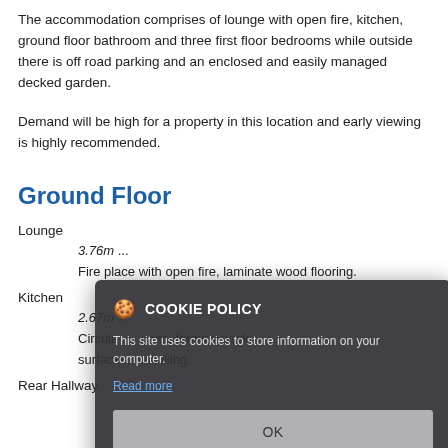The accommodation comprises of lounge with open fire, kitchen, ground floor bathroom and three first floor bedrooms while outside there is off road parking and an enclosed and easily managed decked garden.
Demand will be high for a property in this location and early viewing is highly recommended.
Ground Floor
Lounge
    3.76m ...
    Fire place with open fire, laminate wood flooring.
Kitchen
    2.67m ...
    Circular ... units, formica work surfaces, wall tiling.
Rear Hallway
[Figure (screenshot): Cookie policy dialog overlay with dark semi-transparent background, showing cookie icon, 'COOKIE POLICY' title, body text 'This site uses cookies to store information on your computer', a 'Read more' link, and an OK button.]